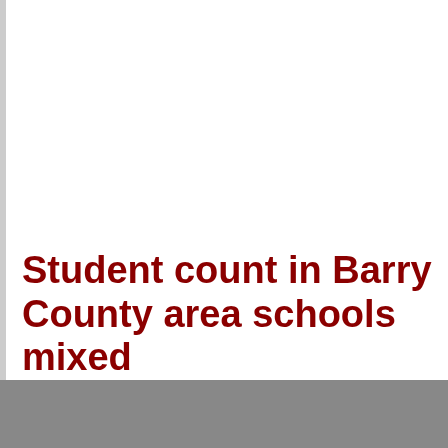Student count in Barry County area schools mixed